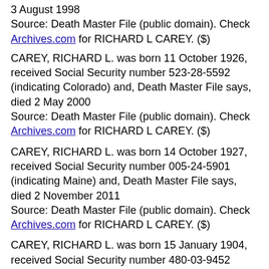3 August 1998
Source: Death Master File (public domain). Check Archives.com for RICHARD L CAREY. ($)
CAREY, RICHARD L. was born 11 October 1926, received Social Security number 523-28-5592 (indicating Colorado) and, Death Master File says, died 2 May 2000
Source: Death Master File (public domain). Check Archives.com for RICHARD L CAREY. ($)
CAREY, RICHARD L. was born 14 October 1927, received Social Security number 005-24-5901 (indicating Maine) and, Death Master File says, died 2 November 2011
Source: Death Master File (public domain). Check Archives.com for RICHARD L CAREY. ($)
CAREY, RICHARD L. was born 15 January 1904, received Social Security number 480-03-9452 (indicating Iowa) and, Death Master File says, died 28 May 1992